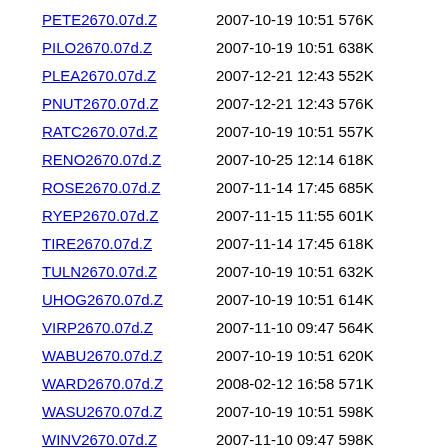PETE2670.07d.Z  2007-10-19 10:51 576K
PILO2670.07d.Z  2007-10-19 10:51 638K
PLEA2670.07d.Z  2007-12-21 12:43 552K
PNUT2670.07d.Z  2007-12-21 12:43 576K
RATC2670.07d.Z  2007-10-19 10:51 557K
RENO2670.07d.Z  2007-10-25 12:14 618K
ROSE2670.07d.Z  2007-11-14 17:45 685K
RYEP2670.07d.Z  2007-11-15 11:55 601K
TIRE2670.07d.Z  2007-11-14 17:45 618K
TULN2670.07d.Z  2007-10-19 10:51 632K
UHOG2670.07d.Z  2007-10-19 10:51 614K
VIRP2670.07d.Z  2007-11-10 09:47 564K
WABU2670.07d.Z  2007-10-19 10:51 620K
WARD2670.07d.Z  2008-02-12 16:58 571K
WASU2670.07d.Z  2007-10-19 10:51 598K
WINV2670.07d.Z  2007-11-10 09:47 598K